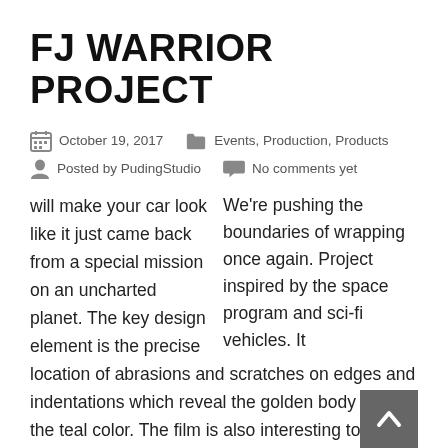FJ WARRIOR PROJECT
October 19, 2017   Events, Production, Products   Posted by PudingStudio   No comments yet
We're pushing the boundaries of wrapping once again. Project inspired by the space program and sci-fi vehicles. It will make your car look like it just came back from a special mission on an uncharted planet. The key design element is the precise location of abrasions and scratches on edges and indentations which reveal the golden body under the teal color. The film is also interesting to touch – all